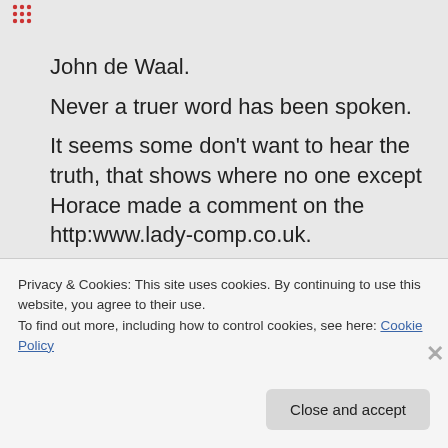John de Waal.
Never a truer word has been spoken.

It seems some don't want to hear the truth, that shows where no one except Horace made a comment on the http:www.lady-comp.co.uk.
It would be good to hear some opinions. !
Especially as there were negative comments on fertility awareness used as a
Privacy & Cookies: This site uses cookies. By continuing to use this website, you agree to their use.
To find out more, including how to control cookies, see here: Cookie Policy